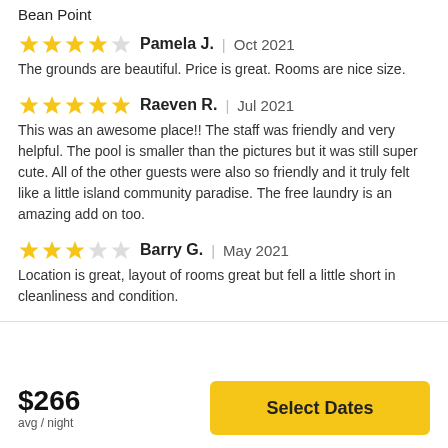Bean Point
Pamela J. | Oct 2021 — 4 stars — The grounds are beautiful. Price is great. Rooms are nice size.
Raeven R. | Jul 2021 — 5 stars — This was an awesome place!! The staff was friendly and very helpful. The pool is smaller than the pictures but it was still super cute. All of the other guests were also so friendly and it truly felt like a little island community paradise. The free laundry is an amazing add on too.
Barry G. | May 2021 — 3 stars — Location is great, layout of rooms great but fell a little short in cleanliness and condition.
$266 avg / night
Select Dates